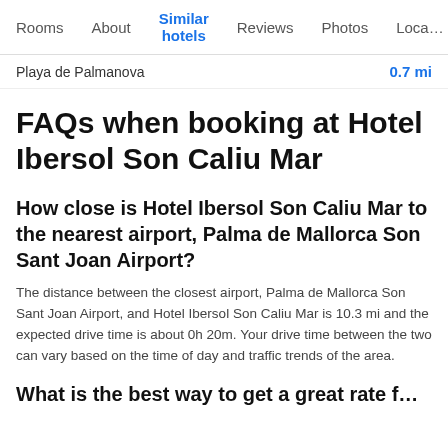Rooms   About   Similar hotels   Reviews   Photos   Loca…
Playa de Palmanova   0.7 mi
FAQs when booking at Hotel Ibersol Son Caliu Mar
How close is Hotel Ibersol Son Caliu Mar to the nearest airport, Palma de Mallorca Son Sant Joan Airport?
The distance between the closest airport, Palma de Mallorca Son Sant Joan Airport, and Hotel Ibersol Son Caliu Mar is 10.3 mi and the expected drive time is about 0h 20m. Your drive time between the two can vary based on the time of day and traffic trends of the area.
What is the best way to get a great rate f…